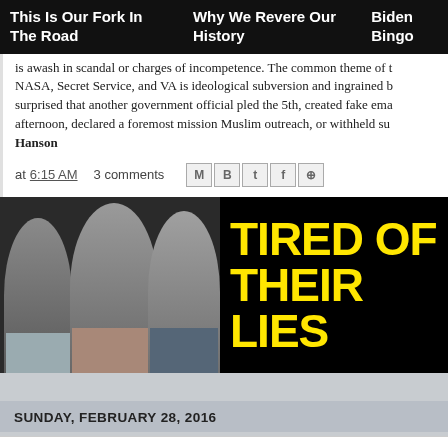This Is Our Fork In The Road | Why We Revere Our History | Biden Bingo
is awash in scandal or charges of incompetence. The common theme of NASA, Secret Service, and VA is ideological subversion and ingrained b[ureaucracy]. surprised that another government official pled the 5th, created fake ema[ils this] afternoon, declared a foremost mission Muslim outreach, or withheld su[bpoenaed documents]
Hanson
at 6:15 AM   3 comments
[Figure (photo): Banner advertisement showing three TV news personalities (two men and a woman) with text 'TIRED OF THEIR LIES' in large yellow letters on black background]
SUNDAY, FEBRUARY 28, 2016
DISPLACED DISNEY WORKERS: Shame on You, Mar[co Rubio]
By Julia Hahn
At Donald Trump's Sunday rally at Madison City Stadium, Sen. Marco Ru[bio's] constituents—two displaced Disney workers—publicly denounced Rubi[o]